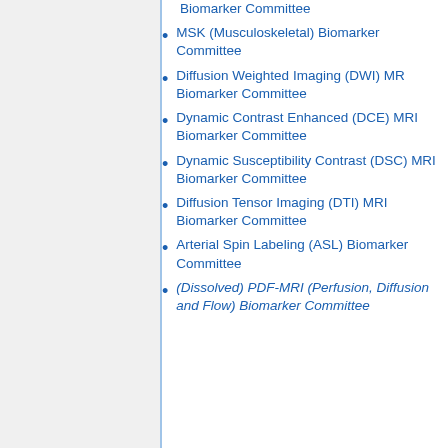Biomarker Committee (truncated top)
MSK (Musculoskeletal) Biomarker Committee
Diffusion Weighted Imaging (DWI) MR Biomarker Committee
Dynamic Contrast Enhanced (DCE) MRI Biomarker Committee
Dynamic Susceptibility Contrast (DSC) MRI Biomarker Committee
Diffusion Tensor Imaging (DTI) MRI Biomarker Committee
Arterial Spin Labeling (ASL) Biomarker Committee
(Dissolved) PDF-MRI (Perfusion, Diffusion and Flow) Biomarker Committee